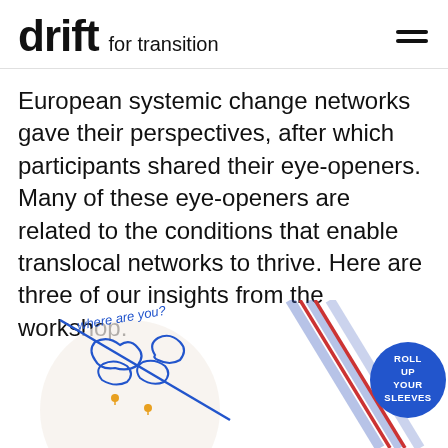drift for transition
European systemic change networks gave their perspectives, after which participants shared their eye-openers. Many of these eye-openers are related to the conditions that enable translocal networks to thrive. Here are three of our insights from the workshop.
[Figure (illustration): Two hand-drawn sketch illustrations: on the left, a map-like doodle with 'where are you?' written in blue handwriting with small map shapes and yellow pins; on the right, diagonal blue and red lines with a blue circle badge reading 'ROLL UP YOUR SLEEVES']